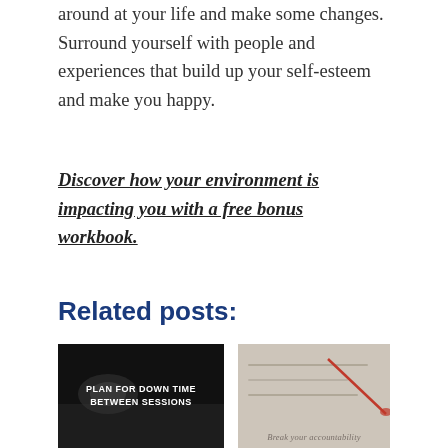around at your life and make some changes. Surround yourself with people and experiences that build up your self-esteem and make you happy.
Discover how your environment is impacting you with a free bonus workbook.
Related posts:
[Figure (photo): Dark image with text overlay reading PLAN FOR DOWN TIME BETWEEN SESSIONS]
[Figure (photo): Hand writing on paper with cursive text reading Break your accountability]